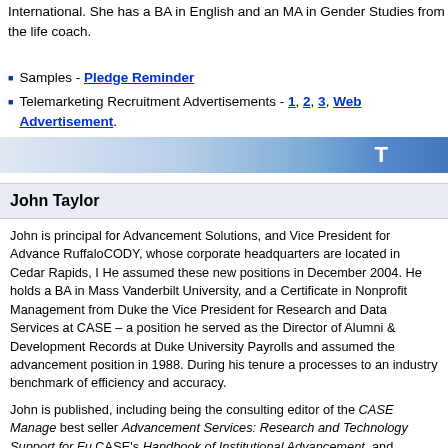Prior to academic fundraising she worked in face to face fundraising for Amnesty International. She has a BA in English and an MA in Gender Studies from the university. She is also a life coach.
Samples - Pledge Reminder
Telemarketing Recruitment Advertisements - 1, 2, 3, Web Advertisement.
T
John Taylor
John is principal for Advancement Solutions, and Vice President for Advancement Services at RuffaloCODY, whose corporate headquarters are located in Cedar Rapids, Iowa. He assumed these new positions in December 2004. He holds a BA in Mass Communication from Vanderbilt University, and a Certificate in Nonprofit Management from Duke University. He served as the Vice President for Research and Data Services at CASE – a position he held for 17 years. He served as the Director of Alumni & Development Records at Duke University, where he came from Payrolls and assumed the advancement position in 1988. During his tenure at CASE he took the processes to an industry benchmark of efficiency and accuracy.
John is published, including being the consulting editor of the CASE Management Reporting Standards, best seller Advancement Services: Research and Technology Support for Fundraising, a chapter in CASE's Handbook of Institutional Advancement, and numerous articles in "Techniques," "Currents," and is consulted frequently by other authors regarding charitable gift accounting. He has spoken at hundreds of conferences across the country, receiving the CASE Crystal Apple Award, and has served as Chair for the CASE Summer Institute in Advancement Services. He was the volunteer primarily responsible for reviewing and rewriting the CASE Management & Reporting Standards. John also consults with colleges and other non-profit organizations focusing on the areas of systems, policies and procedures.